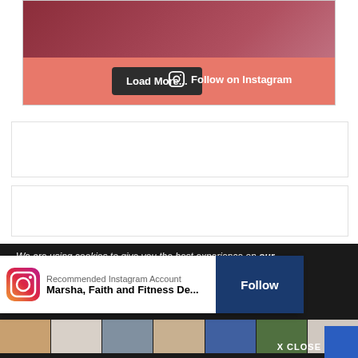[Figure (photo): Screenshot of a website showing an Instagram feed section with a salmon/coral background. A hand holding a card is visible at the top. 'Load More...' dark button and 'Follow on Instagram' link with Instagram icon are shown.]
Load More...
Follow on Instagram
[Figure (screenshot): Empty white bordered section boxes on the page.]
We are using cookies to give you the best experience on our website. By continuing or
[Figure (infographic): Instagram account recommendation popup showing Instagram logo, text 'Recommended Instagram Account', account name 'Marsha, Faith and Fitness De...', and a dark blue 'Follow' button.]
Recommended Instagram Account
Marsha, Faith and Fitness De...
Follow
[Figure (photo): Row of Instagram feed thumbnail images at the bottom of the page showing various photos.]
X CLOSE